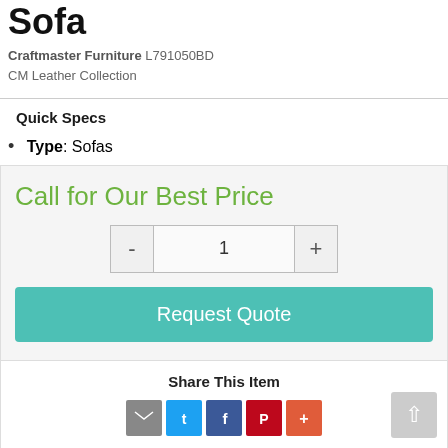Sofa
Craftmaster Furniture L791050BD
CM Leather Collection
Quick Specs
Type: Sofas
Call for Our Best Price
1
Request Quote
Share This Item